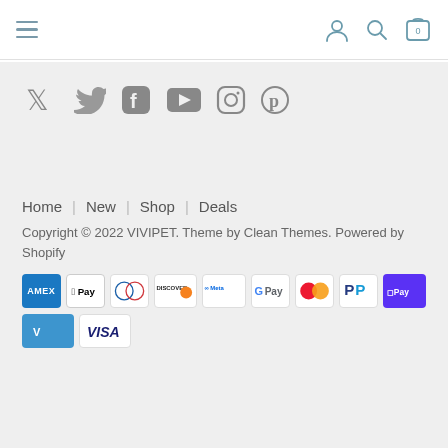Navigation header with hamburger menu and icons (user, search, cart with 0)
[Figure (illustration): Social media icons row: Twitter, Facebook, YouTube, Instagram, Pinterest]
Home | New | Shop | Deals
Copyright © 2022 VIVIPET. Theme by Clean Themes. Powered by Shopify
[Figure (illustration): Payment method logos: Amex, Apple Pay, Diners, Discover, Meta, G Pay, Mastercard, PayPal, Shop Pay, Venmo, Visa]